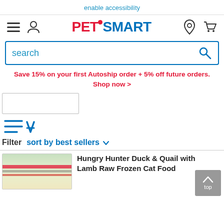enable accessibility
[Figure (logo): PetSmart logo with navigation icons: hamburger menu, user icon, location pin, cart]
search
Save 15% on your first Autoship order + 5% off future orders. Shop now >
[Figure (other): Filter placeholder box]
[Figure (other): Sort/filter icon with downward arrow lines]
Filter  sort by best sellers ▾
Hungry Hunter Duck & Quail with Lamb Raw Frozen Cat Food